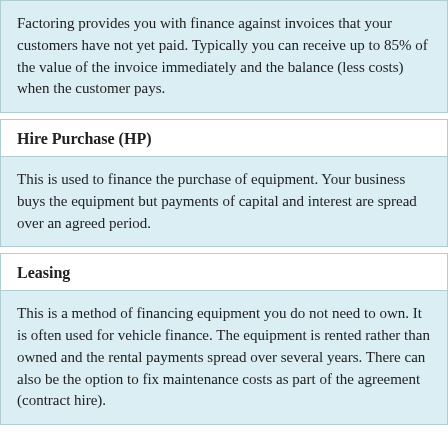Factoring provides you with finance against invoices that your customers have not yet paid. Typically you can receive up to 85% of the value of the invoice immediately and the balance (less costs) when the customer pays.
Hire Purchase (HP)
This is used to finance the purchase of equipment. Your business buys the equipment but payments of capital and interest are spread over an agreed period.
Leasing
This is a method of financing equipment you do not need to own. It is often used for vehicle finance. The equipment is rented rather than owned and the rental payments spread over several years. There can also be the option to fix maintenance costs as part of the agreement (contract hire).